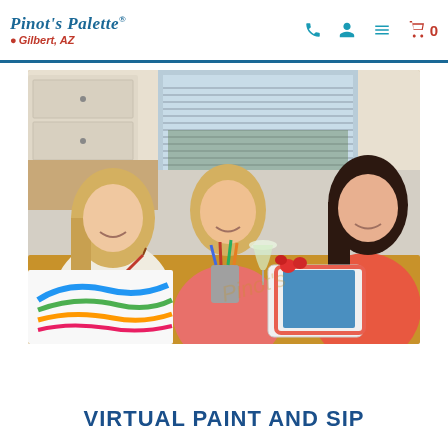Pinot's Palette — Gilbert, AZ
[Figure (photo): Three women smiling and painting at a kitchen table. One holds a paintbrush over a colorful canvas, another holds a glass of wine, and the third paints. Strawberries and painting supplies visible on the table, with a tablet (iPad) propped up.]
VIRTUAL PAINT AND SIP